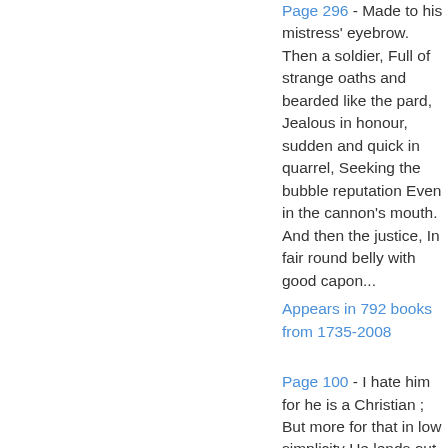Page 296 - Made to his mistress' eyebrow. Then a soldier, Full of strange oaths and bearded like the pard, Jealous in honour, sudden and quick in quarrel, Seeking the bubble reputation Even in the cannon's mouth. And then the justice, In fair round belly with good capon... Appears in 792 books from 1735-2008
Page 100 - I hate him for he is a Christian ; But more for that in low simplicity He lends out money gratis, and brings down The rate of usance here with us in Venice. If I can catch him once upon the hip, I will feed...